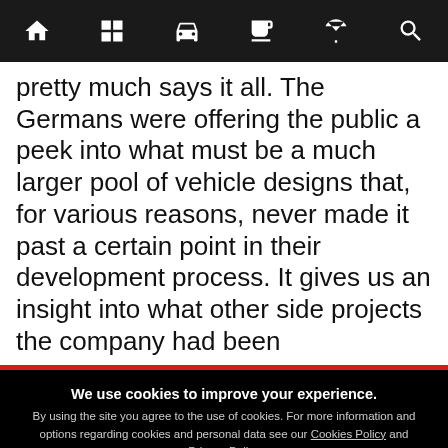Navigation bar with icons: home, grid, car, newspaper, martini glass, search
pretty much says it all. The Germans were offering the public a peek into what must be a much larger pool of vehicle designs that, for various reasons, never made it past a certain point in their development process. It gives us an insight into what other side projects the company had been
We use cookies to improve your experience. By using the site you agree to the use of cookies. For more information and options regarding cookies and personal data see our Cookies Policy and Privacy Policy
Accept cookies & close
California residents: Do Not Sell My Info